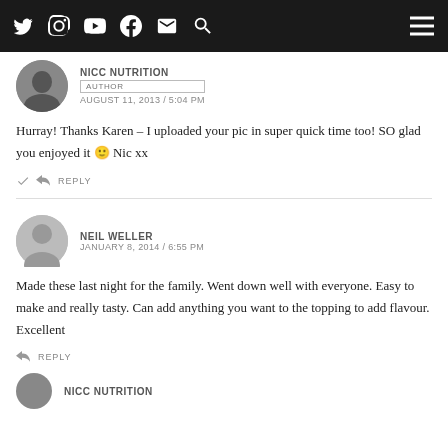Social media icons and hamburger menu navigation bar
NICC NUTRITION
AUTHOR
AUGUST 11, 2013 / 5:04 PM
Hurray! Thanks Karen – I uploaded your pic in super quick time too! SO glad you enjoyed it 🙂 Nic xx
REPLY
NEIL WELLER
JANUARY 8, 2014 / 6:55 PM
Made these last night for the family. Went down well with everyone. Easy to make and really tasty. Can add anything you want to the topping to add flavour. Excellent
REPLY
NICC NUTRITION